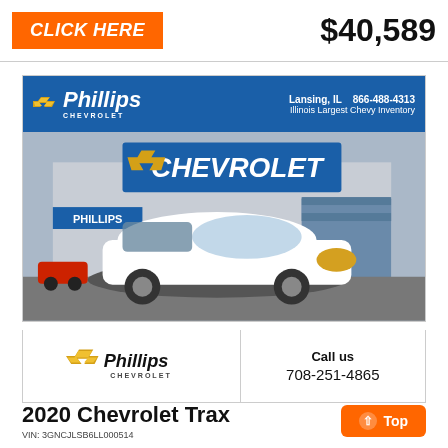CLICK HERE
$40,589
[Figure (photo): Phillips Chevrolet dealership exterior with a white Chevrolet Trax SUV parked in front. Blue banner reads 'Phillips Chevrolet, Lansing IL, 866-488-4313, Illinois Largest Chevy Inventory'. Large Chevrolet sign visible on building.]
[Figure (logo): Phillips Chevrolet logo with Chevy bowtie emblem]
Call us
708-251-4865
2020 Chevrolet Trax
VIN: 3GNCJLSB6LL000514
Top